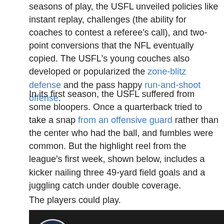seasons of play, the USFL unveiled policies like instant replay, challenges (the ability for coaches to contest a referee's call), and two-point conversions that the NFL eventually copied. The USFL's young couches also developed or popularized the zone-blitz defense and the pass happy run-and-shoot offense.
In its first season, the USFL suffered from some bloopers. Once a quarterback tried to take a snap from an offensive guard rather than the center who had the ball, and fumbles were common. But the highlight reel from the league's first week, shown below, includes a kicker nailing three 49-yard field goals and a juggling catch under double coverage.
The players could play.
[Figure (screenshot): Video screenshot showing a dark background with USFL logo and title text '1983: "USFL The Big Plays" - Week 1 Game Hi...' and a red element at the bottom right]